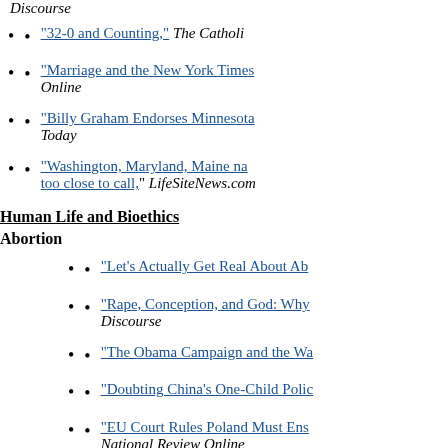"32-0 and Counting," The Catholic...
"Marriage and the New York Times... Online
"Billy Graham Endorses Minnesota... Today
"Washington, Maryland, Maine na... too close to call," LifeSiteNews.com...
Human Life and Bioethics
Abortion
"Let's Actually Get Real About Ab...
"Rape, Conception, and God: Why... Discourse
"The Obama Campaign and the Wa...
"Doubting China's One-Child Polic...
"EU Court Rules Poland Must Ens... National Review Online
"Pro-Lifers, Rejoice: We Won!," C...
"Montana Approves Measure for P... LifeNews.com